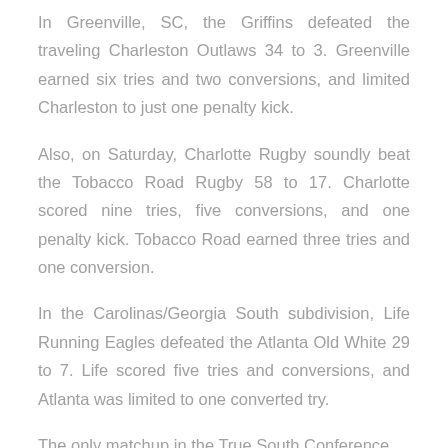In Greenville, SC, the Griffins defeated the traveling Charleston Outlaws 34 to 3. Greenville earned six tries and two conversions, and limited Charleston to just one penalty kick.
Also, on Saturday, Charlotte Rugby soundly beat the Tobacco Road Rugby 58 to 17. Charlotte scored nine tries, five conversions, and one penalty kick. Tobacco Road earned three tries and one conversion.
In the Carolinas/Georgia South subdivision, Life Running Eagles defeated the Atlanta Old White 29 to 7. Life scored five tries and conversions, and Atlanta was limited to one converted try.
The only matchup in the True South Conference